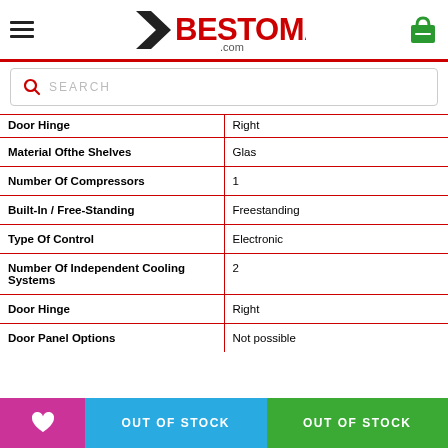BESTOMART.com
SEARCH
| Feature | Value |
| --- | --- |
| Door Hinge | Right |
| Material Ofthe Shelves | Glas |
| Number Of Compressors | 1 |
| Built-In / Free-Standing | Freestanding |
| Type Of Control | Electronic |
| Number Of Independent Cooling Systems | 2 |
| Door Hinge | Right |
| Door Panel Options | Not possible |
OUT OF STOCK  OUT OF STOCK